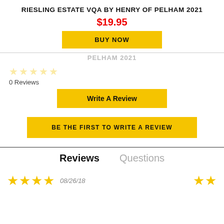RIESLING ESTATE VQA BY HENRY OF PELHAM 2021
$19.95
BUY NOW
0 Reviews
Write A Review
BE THE FIRST TO WRITE A REVIEW
Reviews
Questions
08/26/18